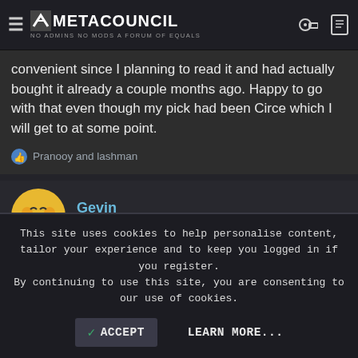METACOUNCIL — NO ADMINS NO MODS A FORUM OF EQUALS
convenient since I planning to read it and had actually bought it already a couple months ago. Happy to go with that even though my pick had been Circe which I will get to at some point.
Pranooy and lashman
Gevin
Watch Madoka
Dec 20, 2018  #48
Rockin' Ranger said:
This site uses cookies to help personalise content, tailor your experience and to keep you logged in if you register.
By continuing to use this site, you are consenting to our use of cookies.
ACCEPT   LEARN MORE...